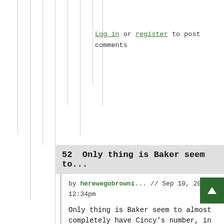Log in or register to post comments
52  Only thing is Baker seem to...
by herewegobrowni... // Sep 10, 2021 12:34pm
Only thing is Baker seem to almost completely have Cincy's number, in the same way that, say, Roethlisberger...